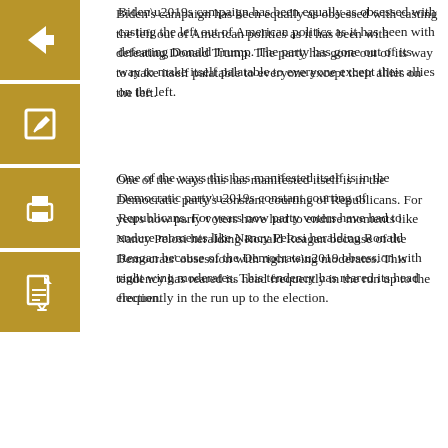Biden’s campaign has been equally as obsessed with casting the left out of American politics as it has been with defeating Donald Trump. The party has gone out of its way to make itself palatable to everyone except their allies on the left.
One of the ways this has manifested itself is in the Democratic party’s constant courting of Republicans. For years now party voters have had to endure moments like Nancy Pelosi heralding Ronald Reagan because of the Democrats’ obsession with right wing moderates. This tendency has reared its head frequently in the run up to the election.
During last month’s convention, Democrats used their largest platform to give Republican John Kasich a featured speaking slot while orchestrating a media hit job on young progressive voice Alexandria Ocasio-Cortez. Since then, the Biden campaign has touted endorsements from over 100 right-wingers, including former Governor of Michigan Rick Snyder.
Now it defies logic that Democrats would publicize the endorsement of Rick Snyder, a despised former Governor who poisoned the water supply of one of the largest cities in a critical battleground state. Still, some would argue that endorsements are largely just symbolic gestures. More concerning to leftists is that the party is taking steps outside of symbolic political posturing.
During the 2020 election season, Democratic Party donors exerted